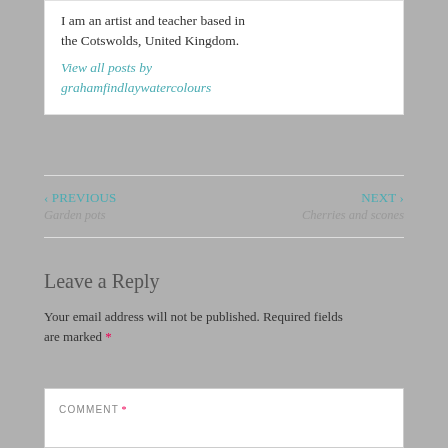I am an artist and teacher based in the Cotswolds, United Kingdom.
View all posts by grahamfindlaywatercolours
‹ PREVIOUS
Garden pots
NEXT ›
Cherries and scones
Leave a Reply
Your email address will not be published. Required fields are marked *
COMMENT *